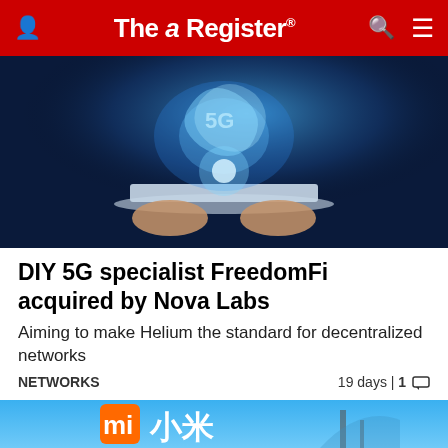The Register
[Figure (photo): Hands holding a laptop/tablet with a glowing 5G holographic display on a dark blue background]
DIY 5G specialist FreedomFi acquired by Nova Labs
Aiming to make Helium the standard for decentralized networks
NETWORKS  19 days | 1 comment
[Figure (photo): Xiaomi sign/logo on a building against a blue sky]